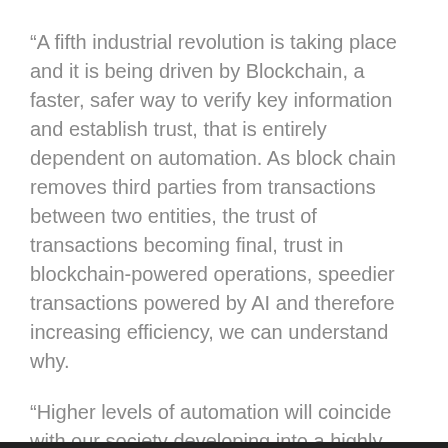“A fifth industrial revolution is taking place and it is being driven by Blockchain, a faster, safer way to verify key information and establish trust, that is entirely dependent on automation. As block chain removes third parties from transactions between two entities, the trust of transactions becoming final, trust in blockchain-powered operations, speedier transactions powered by AI and therefore increasing efficiency, we can understand why.
“Higher levels of automation will coincide with our society developing into a highly efficient, fast-paced world.
“With public as well as private blockchains being created, the technology will be used to solve our basic public needs such as congestion, waste management